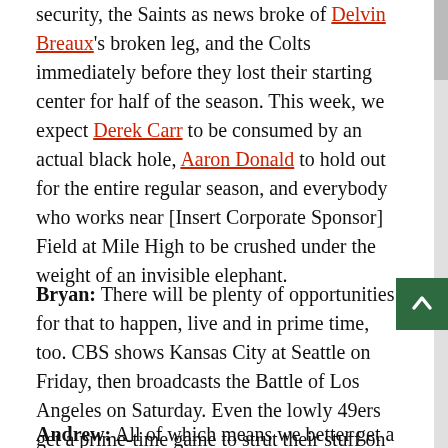security, the Saints as news broke of Delvin Breaux's broken leg, and the Colts immediately before they lost their starting center for half of the season. This week, we expect Derek Carr to be consumed by an actual black hole, Aaron Donald to hold out for the entire regular season, and everybody who works near [Insert Corporate Sponsor] Field at Mile High to be crushed under the weight of an invisible elephant.
Bryan: There will be plenty of opportunities for that to happen, live and in prime time, too. CBS shows Kansas City at Seattle on Friday, then broadcasts the Battle of Los Angeles on Saturday. Even the lowly 49ers get a prime-time game to strut their stuff on Sunday Night Football on NBC. Just another typical example of the West Coast bias that pervades sports media these days.
Andrew: All of which means we better get a move